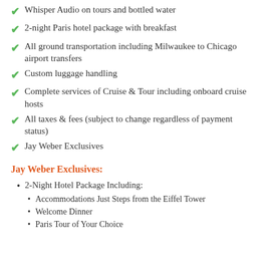Whisper Audio on tours and bottled water
2-night Paris hotel package with breakfast
All ground transportation including Milwaukee to Chicago airport transfers
Custom luggage handling
Complete services of Cruise & Tour including onboard cruise hosts
All taxes & fees (subject to change regardless of payment status)
Jay Weber Exclusives
Jay Weber Exclusives:
2-Night Hotel Package Including:
Accommodations Just Steps from the Eiffel Tower
Welcome Dinner
Paris Tour of Your Choice